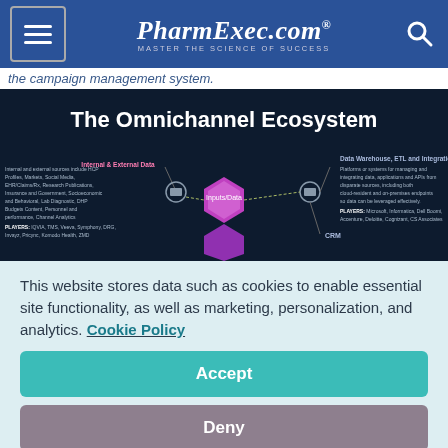PharmExec.com — MASTER THE SCIENCE OF SUCCESS
the campaign management system.
[Figure (infographic): The Omnichannel Ecosystem — a dark navy infographic showing data flow from 'Internal & External Data' and 'Inputs/Data' hexagon (purple/pink) through various connected nodes including Data Warehouse, ETL and Integration, and CRM. Multiple labeled nodes with player lists including Microsoft, Informatica, Dell Boomi, Accenture, Deloitte, Cognizant, CSC Associates on right side; IQVIA, TMS, Veeva, Symphony, DRG, Invayz, Pricync, Komodo Health, ZMD on left side.]
This website stores data such as cookies to enable essential site functionality, as well as marketing, personalization, and analytics. Cookie Policy
Accept
Deny